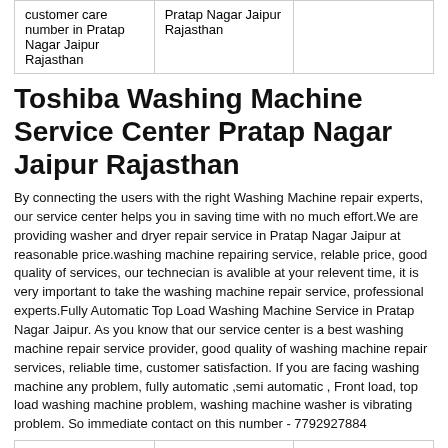|  |  |  |
| --- | --- | --- |
| customer care number in Pratap Nagar Jaipur Rajasthan | Pratap Nagar Jaipur Rajasthan |  |
Toshiba Washing Machine Service Center Pratap Nagar Jaipur Rajasthan
By connecting the users with the right Washing Machine repair experts, our service center helps you in saving time with no much effort.We are providing washer and dryer repair service in Pratap Nagar Jaipur at reasonable price.washing machine repairing service, relable price, good quality of services, our technecian is avalible at your relevent time, it is very important to take the washing machine repair service, professional experts.Fully Automatic Top Load Washing Machine Service in Pratap Nagar Jaipur. As you know that our service center is a best washing machine repair service provider, good quality of washing machine repair services, reliable time, customer satisfaction. If you are facing washing machine any problem, fully automatic ,semi automatic , Front load, top load washing machine problem, washing machine washer is vibrating problem. So immediate contact on this number - 7792927884
| Toshiba Front Loading Washing Machine... | Toshiba Front Loading Washing Machine... | Toshiba Front Loading Washing Machine... |
| --- | --- | --- |